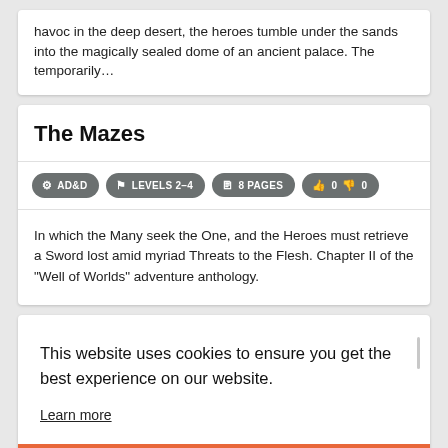havoc in the deep desert, the heroes tumble under the sands into the magically sealed dome of an ancient palace. The temporarily…
The Mazes
AD&D  LEVELS 2–4  8 PAGES  0  0
In which the Many seek the One, and the Heroes must retrieve a Sword lost amid myriad Threats to the Flesh. Chapter II of the "Well of Worlds" adventure anthology.
This website uses cookies to ensure you get the best experience on our website.
Learn more
Got it!
the government apparatus is at a standstill. The criminal…